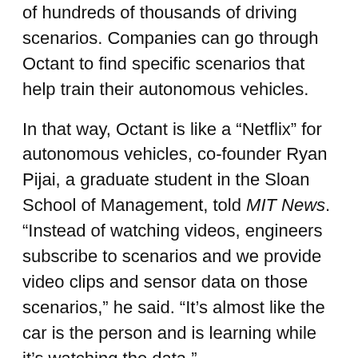of hundreds of thousands of driving scenarios. Companies can go through Octant to find specific scenarios that help train their autonomous vehicles.
In that way, Octant is like a “Netflix” for autonomous vehicles, co-founder Ryan Pijai, a graduate student in the Sloan School of Management, told MIT News. “Instead of watching videos, engineers subscribe to scenarios and we provide video clips and sensor data on those scenarios,” he said. “It’s almost like the car is the person and is learning while it’s watching the data.”
Octant launched just a few months ago. While participating in delta v, the startup refined its software, contracted more than 100 drivers, deployed cars, partnered with a Fortune 50 company, and